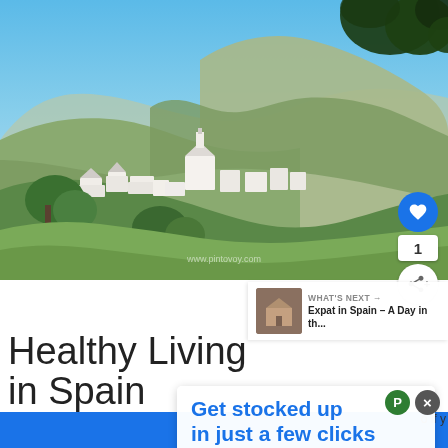[Figure (photo): Aerial/hillside view of a white Spanish village nestled in a mountainous landscape with blue sky, green vegetation, and stone-roofed buildings. Dark tree leaves visible in top-right corner. Watermark text visible at bottom center.]
WHAT'S NEXT → Expat in Spain – A Day in th...
Healthy Living in Spain
Living in S… o if y…
Get stocked up in just a few clicks
No markups or hidden fees.